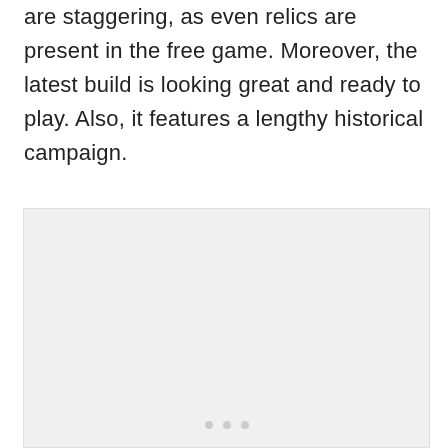are staggering, as even relics are present in the free game. Moreover, the latest build is looking great and ready to play. Also, it features a lengthy historical campaign.
[Figure (other): A light gray image placeholder box with three small gray dots at the bottom center, indicating a loading or carousel indicator.]